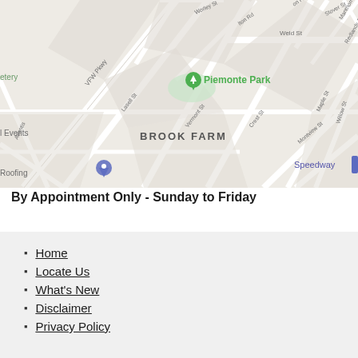[Figure (map): Google Maps street map showing Brook Farm neighborhood with Piemonte Park marker (green), a roofing business marker (grey), VFW Pkwy, Lasell St, Vermont St, Crest St, Montview St, Maple St, Willow St, Weld St, and Speedway label visible.]
By Appointment Only - Sunday to Friday
Home
Locate Us
What's New
Disclaimer
Privacy Policy